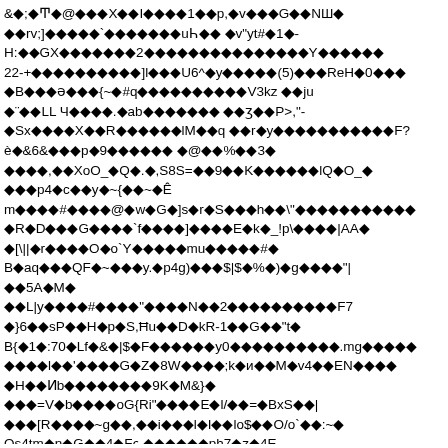&◆;◆Ͳ◆@◆◆◆X◆◆I◆◆◆◆1◆◆p,◆v◆◆◆G◆◆NШ◆ ◆◆rv;]◆◆◆◆◆`◆◆◆◆◆◆◆uҺ◆◆ ◆v"yt#◆1◆- H:◆◆GX◆◆◆◆◆◆◆2◆◆◆◆◆◆◆◆◆◆◆◆◆◆◆Y◆◆◆◆◆◆ 22-+◆◆◆◆◆◆◆◆◆◆]l◆◆◆U6^◆y◆◆◆◆◆(5)◆◆◆ReH◆0◆◆◆ ◆B◆◆◆ə◆◆◆{~◆#q◆◆◆◆◆◆◆◆◆◆V3kz ◆◆ju ◆¨◆◆LL Ч◆◆◆◆.◆ab◆◆◆◆◆◆◆ ◆◆ʒ◆◆P>,"- ◆Sx◆◆◆◆X◆◆R◆◆◆◆◆◆lM◆◆q ◆◆r◆y◆◆◆◆◆◆◆◆◆◆◆F? è◆&6&◆◆◆p◆9◆◆◆◆◆◆ ◆@◆◆%◆◆3◆ ◆◆◆◆,◆◆XoO_◆Q◆.◆,S8S=◆◆9◆◆K◆◆◆◆◆◆lQ◆O_◆ ◆◆◆p4◆c◆◆y◆~{◆◆~◆Ê m◆◆◆◆#◆◆◆◆@◆w◆G◆]s◆r◆S◆◆◆h◆◆\"◆◆◆◆◆◆◆◆◆◆◆ ◆R◆D◆◆◆G◆◆◆◆`f◆◆◆◆]◆◆◆◆E◆k◆_!p\◆◆◆◆|AA◆ ◆[\||◆r◆◆◆◆O◆o`Y◆◆◆◆◆mu◆◆◆◆◆#◆ B◆aq◆◆◆QF◆~◆◆◆y.◆p4g)◆◆◆$|$◆%◆)◆g◆◆◆◆"| ◆◆5A◆M◆ ◆◆L|y◆◆◆◆#◆◆◆◆"◆◆◆◆N◆◆2◆◆◆◆◆◆◆◆◆◆F7 ◆}6◆◆sP◆◆H◆p◆S,Ħu◆◆D◆kR-1◆◆G◆◆"t◆ B{◆1◆:70◆Lf◆&◆|$◆F◆◆◆◆◆◆y0◆◆◆◆◆◆◆◆◆◆.mg◆◆◆◆◆ ◆◆◆◆l◆◆'◆◆◆◆G◆Z◆8W◆◆◆◆;k◆и◆◆M◆v4◆◆EN◆◆◆◆ ◆H◆◆Ͷb◆◆◆◆◆◆◆◆9K◆M&}◆ ◆◆◆=V◆b◆◆◆◆oG{Ri"◆◆◆◆E◆l/◆◆=◆BxS◆◆| ◆◆◆[R◆◆◆◆~g◆◆,◆◆i◆◆◆l◆I◆◆lo$◆◆O/o`◆◆:~◆ Os4tm◆n◆G◆◆4◆F◆ς,◆◆◆◆◆◆ph7◆z◆4E ◆◆◆E◆h◆◆0◆◆◆oexHl◆◆R◆◆M◆◆◆m◆◆◆◆me◆◆^a>◆◆◆◆◆◆